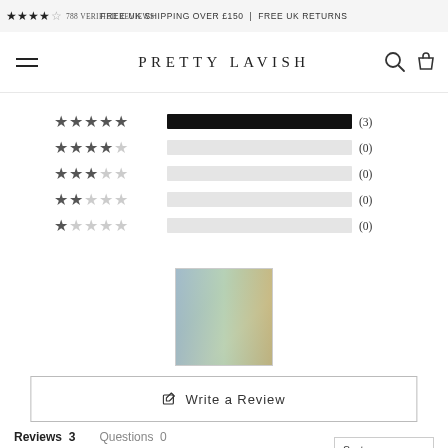★★★★☆ 788 VERIFIED REVIEWS | FREE UK SHIPPING OVER £150 | FREE UK RETURNS
[Figure (logo): Pretty Lavish brand logo with hamburger menu, search and cart icons]
[Figure (bar-chart): Star rating distribution]
[Figure (photo): Customer review photo showing two people wearing garments]
✎  Write a Review
Reviews  3    Questions  0
Sort